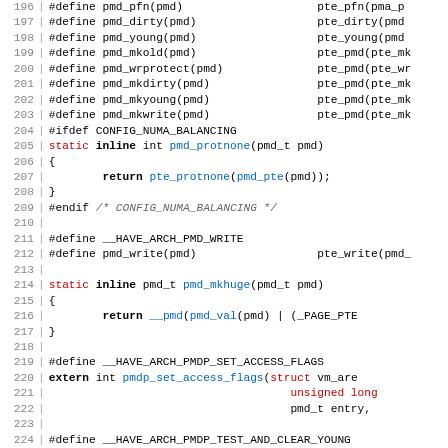[Figure (screenshot): Source code listing showing C preprocessor macros and inline functions for PMD (Page Middle Directory) operations in Linux kernel, lines 196-226, with syntax highlighting: red for static/extern keywords, blue for function names, bold for inline/return.]